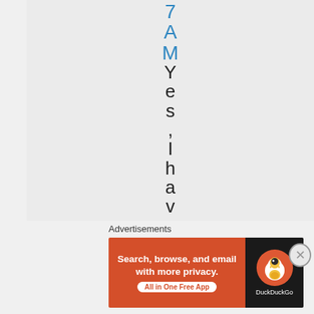7AM Yes, I have a
Advertisements
[Figure (screenshot): DuckDuckGo advertisement banner: orange left section with text 'Search, browse, and email with more privacy. All in One Free App' and dark right section with DuckDuckGo duck logo and brand name.]